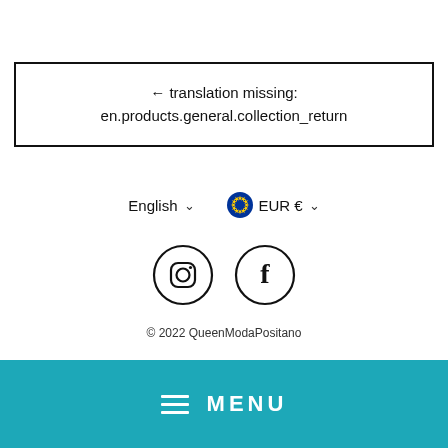← translation missing: en.products.general.collection_return
English ∨   EUR € ∨
[Figure (other): Instagram and Facebook social media icon circles]
© 2022 QueenModaPositano
≡ MENU